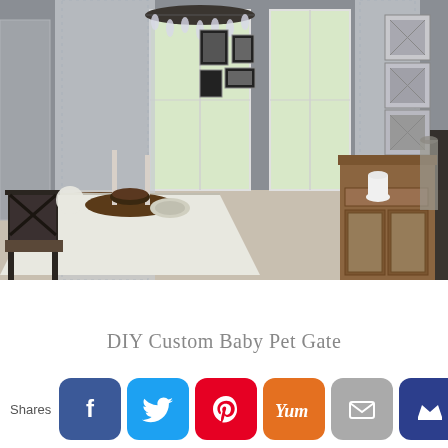[Figure (photo): Interior dining room photo showing a dining table set with white tablecloth, dark wooden chairs with X-back design, a chandelier, gray walls, patterned curtains, windows with outdoor view, decorative mirrors on right wall, and a brown wooden hutch/cabinet in the foreground right.]
DIY Custom Baby Pet Gate
Shares
[Figure (infographic): Social sharing buttons row: Facebook (blue), Twitter (light blue), Pinterest (red), Yummly (orange), Email (gray), Crown/save (dark blue)]